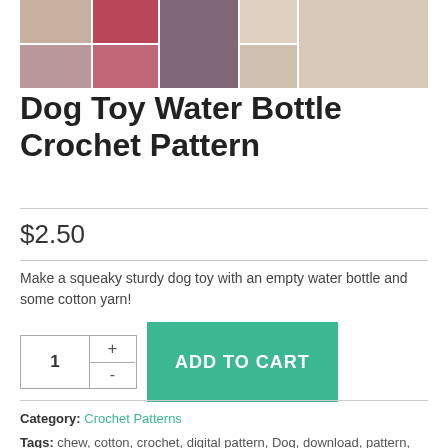[Figure (photo): Product photo collage of Dog Toy Water Bottle Crochet Pattern showing multiple crocheted water bottle covers in various colors and a dog playing with one]
Dog Toy Water Bottle Crochet Pattern
$2.50
Make a squeaky sturdy dog toy with an empty water bottle and some cotton yarn!
ADD TO CART
Category: Crochet Patterns
Tags: chew, cotton, crochet, digital pattern, Dog, download, pattern, pdf, pet, Puppy, squeaky, strong, toy, water bottle